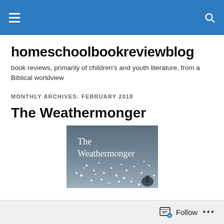homeschoolbookreviewblog — navigation bar
homeschoolbookreviewblog
book reviews, primarily of children's and youth literature, from a Biblical worldview
MONTHLY ARCHIVES: FEBRUARY 2018
The Weathermonger
[Figure (photo): Book cover of 'The Weathermonger' — dark gray/blue background with white sparkle/snow pattern and the title text in white serif font]
Follow  •••